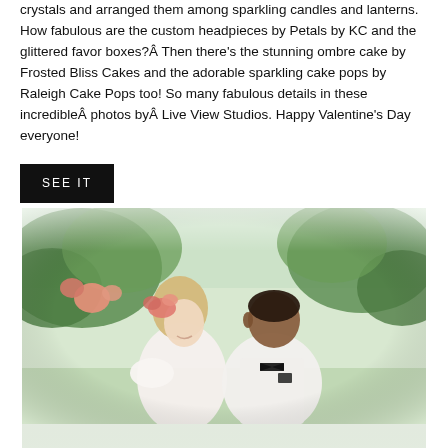crystals and arranged them among sparkling candles and lanterns. How fabulous are the custom headpieces by Petals by KC and the glittered favor boxes?Â Then there's the stunning ombre cake by Frosted Bliss Cakes and the adorable sparkling cake pops by Raleigh Cake Pops too! So many fabulous details in these incredibleÂ photosÂ byÂ Live View Studios. Happy Valentine's Day everyone!
SEE IT
[Figure (photo): A bride and groom facing each other closely, almost touching foreheads, surrounded by lush green foliage and pink flowers. The bride has blonde hair with floral headpiece, wearing a white lace dress. The groom wears a white suit jacket with black bow tie.]
[Figure (photo): Bottom portion of another wedding photo, showing a soft blurred white and green background.]